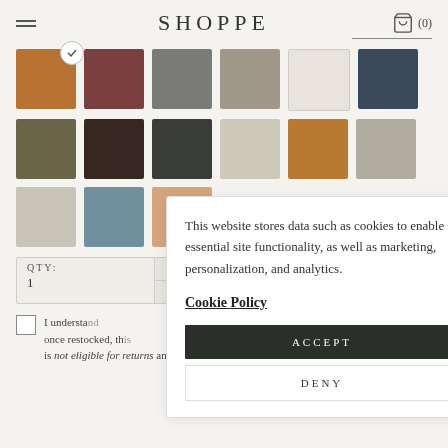SHOPPE
[Figure (illustration): Grid of fabric/material swatches in various colors: tan/caramel (selected with checkmark), dark red/mauve, medium gray, gray-beige, off-white, dark blue-gray (row 1); olive/khaki, dark brown, dark charcoal, light beige, caramel/wood, light gray (row 2); light gray/linen, slate blue, partial dark orange swatch (row 3)]
QTY:
1
I understand once restocked, this is not eligible for returns and agree to the
This website stores data such as cookies to enable essential site functionality, as well as marketing, personalization, and analytics.
Cookie Policy
ACCEPT
DENY